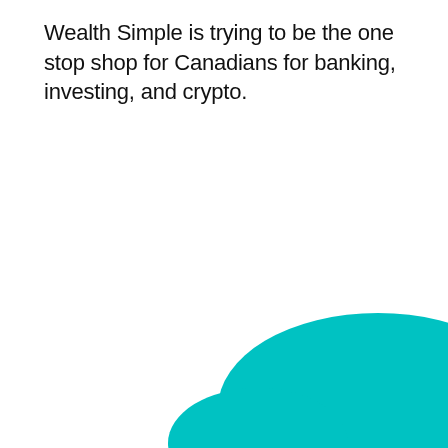Wealth Simple is trying to be the one stop shop for Canadians for banking, investing, and crypto.
[Figure (illustration): Teal/cyan organic blob shape in the bottom-right corner of the page, partially cropped at the page edges.]